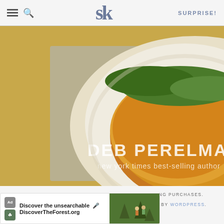SK — Smitten Kitchen — SURPRISE!
[Figure (photo): Book cover showing a frittata on a plate with greens on top, by Deb Perelman, New York Times best-selling author. The book is shown as a 3D book with cover photo visible.]
AS AN AMAZON ASSOCIATE I EARN FROM QUALIFYING PURCHASES.
©2009–2022 SMITTEN KITCHEN. PROUDLY POWERED BY WORDPRESS. HOSTED BY PRESSABLE.
[Figure (screenshot): Advertisement banner: Discover the unsearchable — DiscoverTheForest.org]